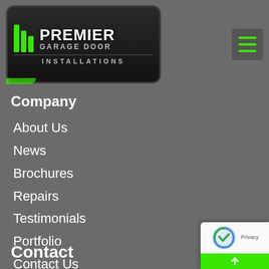[Figure (logo): Premier Garage Door Installations logo with green stripes and white text on black rounded rectangle background]
Company
About Us
News
Brochures
Repairs
Testimonials
Portfolio
Contact Us
Contact
[Figure (other): reCAPTCHA privacy badge with arrow up button in green]